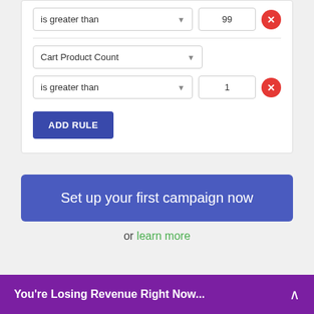[Figure (screenshot): UI card with two rule rows: first row shows 'is greater than' dropdown with value 99 and a red X close button; second section shows 'Cart Product Count' dropdown followed by 'is greater than' dropdown with value 1 and a red X close button; below is an 'ADD RULE' button]
[Figure (screenshot): Call-to-action button 'Set up your first campaign now' in purple-blue, followed by 'or learn more' text with green link]
or learn more
You're Losing Revenue Right Now...